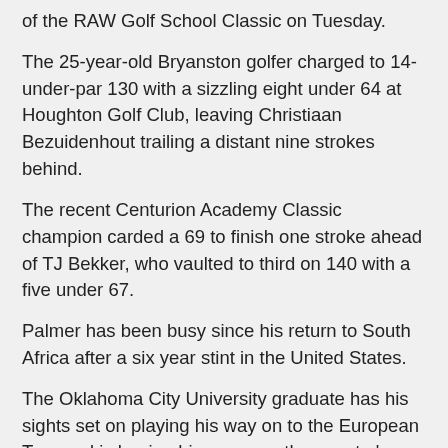of the RAW Golf School Classic on Tuesday.
The 25-year-old Bryanston golfer charged to 14-under-par 130 with a sizzling eight under 64 at Houghton Golf Club, leaving Christiaan Bezuidenhout trailing a distant nine strokes behind.
The recent Centurion Academy Classic champion carded a 69 to finish one stroke ahead of TJ Bekker, who vaulted to third on 140 with a five under 67.
Palmer has been busy since his return to South Africa after a six year stint in the United States.
The Oklahoma City University graduate has his sights set on playing his way on to the European Tour and is honing his game on the country's premier development Tour ahead of his Big Easy Tour debut in May.
In February, Palmer broke through for his maiden win in the Jeandre Fourie Classic and now he is 18 holes away from his second wire-to-wire victory on the IGT Tour.
While the competitors joked and told Palmer he only needs to show up to collect his trophy, the leader chose to take a more cautious approach.